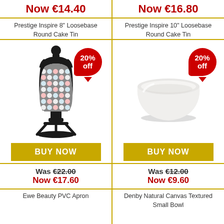Now €14.40
Now €16.80
Prestige Inspire 8" Loosebase Round Cake Tin
Prestige Inspire 10" Loosebase Round Cake Tin
[Figure (photo): Ewe Beauty PVC Apron on a mannequin stand with a 20% off badge]
[Figure (photo): Denby Natural Canvas Textured Small Bowl with a 20% off badge]
BUY NOW
BUY NOW
Was €22.00 Now €17.60
Was €12.00 Now €9.60
Ewe Beauty PVC Apron
Denby Natural Canvas Textured Small Bowl